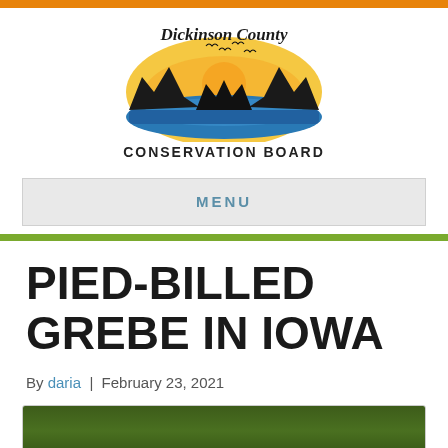[Figure (logo): Dickinson County Conservation Board logo with sunset, water, trees, and birds silhouette]
CONSERVATION BOARD
MENU
PIED-BILLED GREBE IN IOWA
By daria  |  February 23, 2021
[Figure (photo): Photo of pied-billed grebe, partially visible, green blurred background]